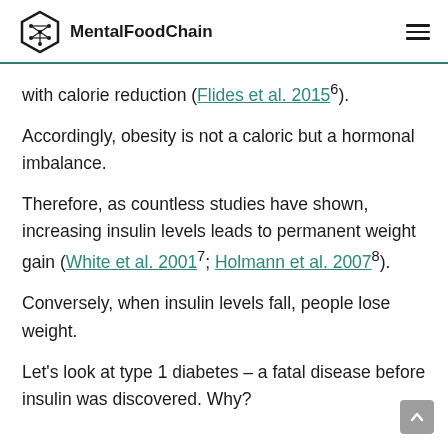MentalFoodChain
with calorie reduction (Flides et al. 2015⁶).
Accordingly, obesity is not a caloric but a hormonal imbalance.
Therefore, as countless studies have shown, increasing insulin levels leads to permanent weight gain (White et al. 2001⁷; Holmann et al. 2007⁸).
Conversely, when insulin levels fall, people lose weight.
Let's look at type 1 diabetes – a fatal disease before insulin was discovered. Why?